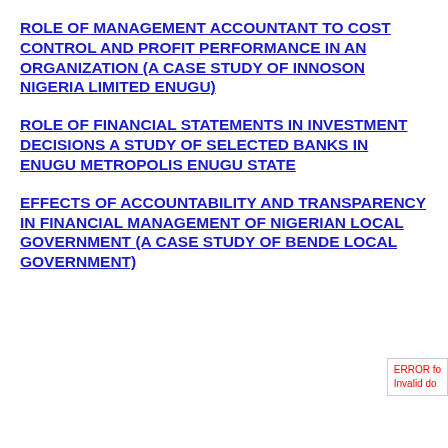ROLE OF MANAGEMENT ACCOUNTANT TO COST CONTROL AND PROFIT PERFORMANCE IN AN ORGANIZATION (A CASE STUDY OF INNOSON NIGERIA LIMITED ENUGU)
ROLE OF FINANCIAL STATEMENTS IN INVESTMENT DECISIONS A STUDY OF SELECTED BANKS IN ENUGU METROPOLIS ENUGU STATE
EFFECTS OF ACCOUNTABILITY AND TRANSPARENCY IN FINANCIAL MANAGEMENT OF NIGERIAN LOCAL GOVERNMENT (A CASE STUDY OF BENDE LOCAL GOVERNMENT)